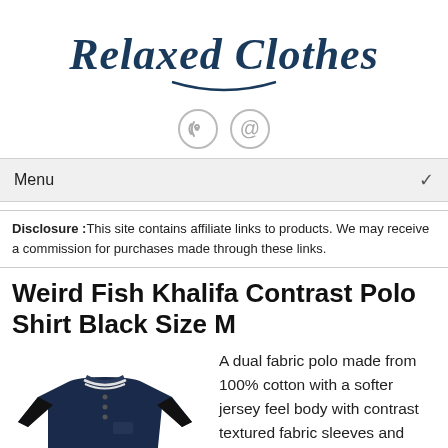Relaxed Clothes
[Figure (logo): Relaxed Clothes logo in dark navy italic script with a smile underline]
[Figure (infographic): Two circular social media icons: RSS feed icon and email/at icon]
Menu
Disclosure :This site contains affiliate links to products. We may receive a commission for purchases made through these links.
Weird Fish Khalifa Contrast Polo Shirt Black Size M
[Figure (photo): A dark navy and black contrast polo shirt with striped collar]
A dual fabric polo made from 100% cotton with a softer jersey feel body with contrast textured fabric sleeves and collar. A simple polo shirt with a small embroidered chest logo mock tortoise shell buttons and a stand out stripe on